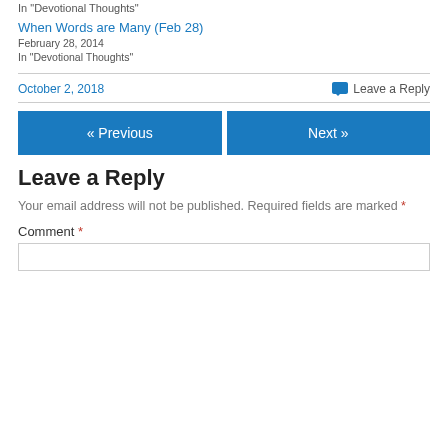In "Devotional Thoughts"
When Words are Many (Feb 28)
February 28, 2014
In "Devotional Thoughts"
October 2, 2018    Leave a Reply
« Previous    Next »
Leave a Reply
Your email address will not be published. Required fields are marked *
Comment *